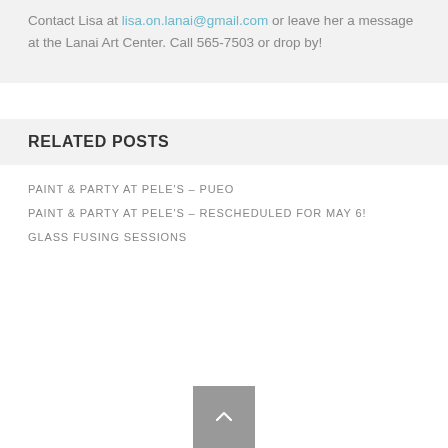Contact Lisa at lisa.on.lanai@gmail.com or leave her a message at the Lanai Art Center.  Call 565-7503 or drop by!
RELATED POSTS
PAINT & PARTY AT PELE'S – PUEO
PAINT & PARTY AT PELE'S – RESCHEDULED FOR MAY 6!
GLASS FUSING SESSIONS